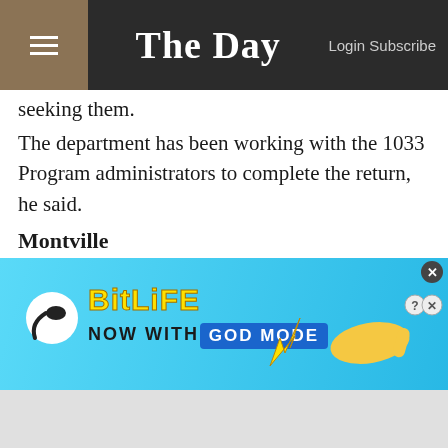The Day — Login Subscribe
seeking them.
The department has been working with the 1033 Program administrators to complete the return, he said.
Montville
The department has received five 5.56 mm rifles and two 7.62 mm rifles from the program. The department did not respond to requests for comment.
Day Staff Writers Greg Smith, Claire Bessette, Kimberly Drelich, Mary Biekert, Amanda Hutchinson and Joe Wojtas contributed...
[Figure (screenshot): BitLife advertisement banner — NOW WITH GOD MODE]